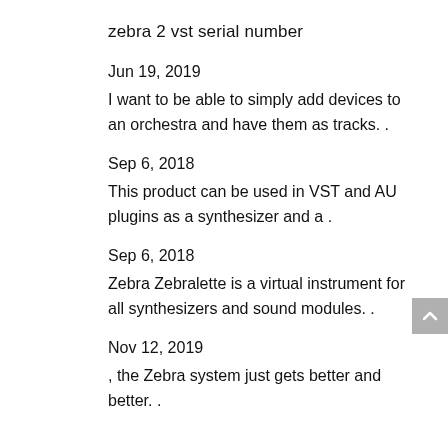zebra 2 vst serial number
Jun 19, 2019
I want to be able to simply add devices to an orchestra and have them as tracks..
Sep 6, 2018
This product can be used in VST and AU plugins as a synthesizer and a .
Sep 6, 2018
Zebra Zebralette is a virtual instrument for all synthesizers and sound modules..
Nov 12, 2019
, the Zebra system just gets better and better..